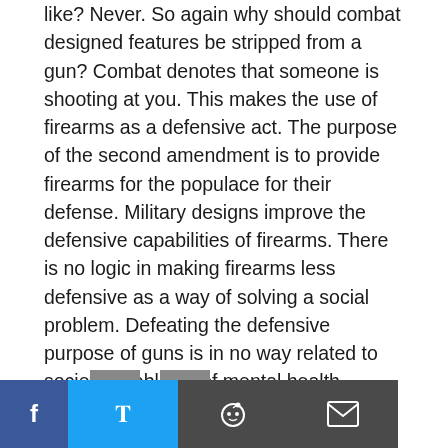like? Never. So again why should combat designed features be stripped from a gun? Combat denotes that someone is shooting at you. This makes the use of firearms as a defensive act. The purpose of the second amendment is to provide firearms for the populace for their defense. Military designs improve the defensive capabilities of firearms. There is no logic in making firearms less defensive as a way of solving a social problem. Defeating the defensive purpose of guns is in no way related to societal problems of mental health issues. Someone draw me a picture of how that works – Please!
[Figure (other): Social share bar with Facebook, Twitter, Reddit, and Email icons]